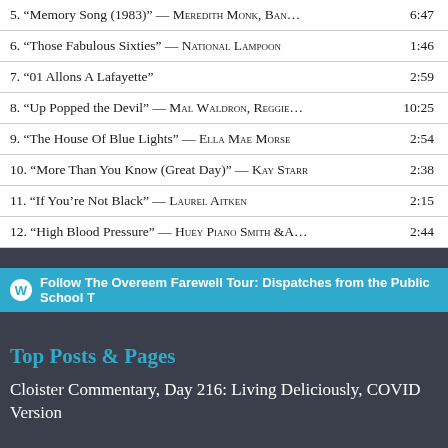| Track | Duration |
| --- | --- |
| 5. “Memory Song (1983)” — MEREDITH MONK, BAN… | 6:47 |
| 6. “Those Fabulous Sixties” — NATIONAL LAMPOON | 1:46 |
| 7. “01 Allons A Lafayette” | 2:59 |
| 8. “Up Popped the Devil” — MAL WALDRON, REGGIE… | 10:25 |
| 9. “The House Of Blue Lights” — ELLA MAE MORSE | 2:54 |
| 10. “More Than You Know (Great Day)” — KAY STARR | 2:38 |
| 11. “If You're Not Black” — LAUREL AITKEN | 2:15 |
| 12. “High Blood Pressure” — HUEY PIANO SMITH &A… | 2:44 |
Follow The Overeem Farewell Tour: Dispatches from the Public School T
Top Posts & Pages
Cloister Commentary, Day 216: Living Deliciously, COVID Version
Cloister Commentary, Day 337: Thaw Out